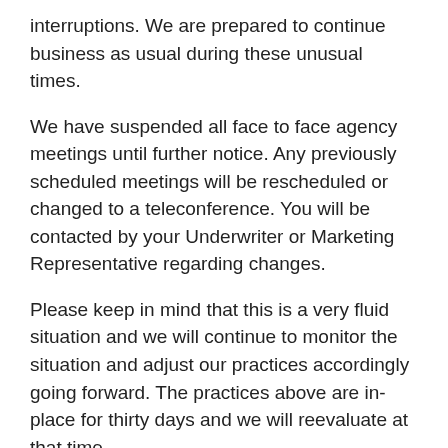interruptions.  We are prepared to continue business as usual during these unusual times.
We have suspended all face to face agency meetings until further notice.  Any previously scheduled meetings will be rescheduled or changed to a teleconference.  You will be contacted by your Underwriter or Marketing Representative regarding changes.
Please keep in mind that this is a very fluid situation and we will continue to monitor the situation and adjust our practices accordingly going forward.  The practices above are in-place for thirty days and we will reevaluate at that time.
Please check our website regularly to stay updated on future changes.
We appreciate your assistance and cooperation in these